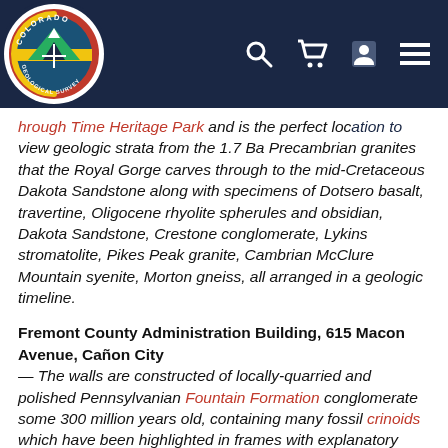Colorado Geological Survey – navigation header with logo and icons
hrough Time Heritage Park and is the perfect location to view geologic strata from the 1.7 Ba Precambrian granites that the Royal Gorge carves through to the mid-Cretaceous Dakota Sandstone along with specimens of Dotsero basalt, travertine, Oligocene rhyolite spherules and obsidian, Dakota Sandstone, Crestone conglomerate, Lykins stromatolite, Pikes Peak granite, Cambrian McClure Mountain syenite, Morton gneiss, all arranged in a geologic timeline.
Fremont County Administration Building, 615 Macon Avenue, Cañon City
The walls are constructed of locally-quarried and polished Pennsylvanian Fountain Formation conglomerate some 300 million years old, containing many fossil crinoids which have been highlighted in frames with explanatory signs. This display raised community awareness of the remarkable beauty and ancient fossil content on the locally-quarried stones used there.